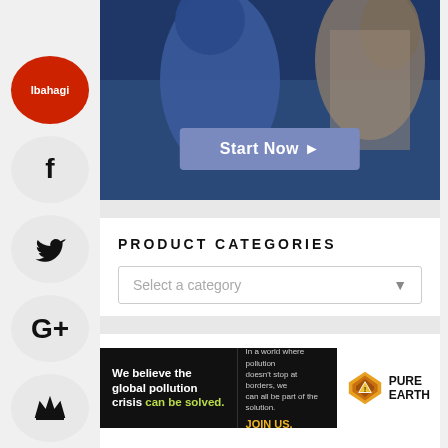[Figure (screenshot): Screenshot of a webpage with a 'Start Now' button overlaid on a dark blue/photo background image]
Ibahagi
PRODUCT CATEGORIES
Select a category
TRANSLATE
[Figure (infographic): Pure Earth advertisement banner: 'We believe the global pollution crisis can be solved. In a world where pollution doesn't stop at borders, we can all be part of the solution. JOIN US.' with Pure Earth logo]